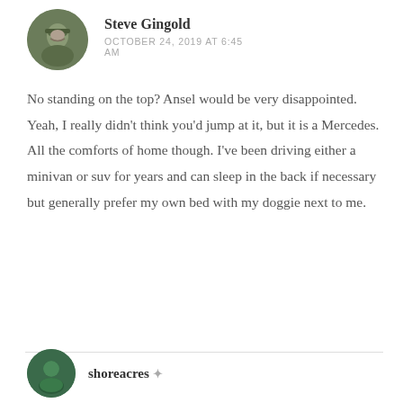Steve Gingold
OCTOBER 24, 2019 AT 6:45 AM
No standing on the top? Ansel would be very disappointed.
Yeah, I really didn't think you'd jump at it, but it is a Mercedes. All the comforts of home though. I've been driving either a minivan or suv for years and can sleep in the back if necessary but generally prefer my own bed with my doggie next to me.
shoreacres